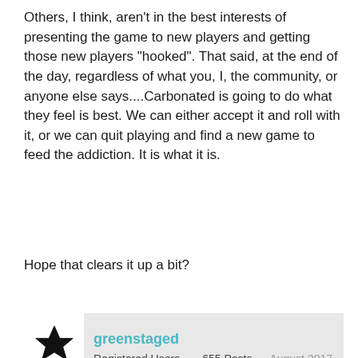Others, I think, aren't in the best interests of presenting the game to new players and getting those new players "hooked". That said, at the end of the day, regardless of what you, I, the community, or anyone else says....Carbonated is going to do what they feel is best. We can either accept it and roll with it, or we can quit playing and find a new game to feed the addiction. It is what it is.
Hope that clears it up a bit?
greenstaged
Registered Users   655 Posts   August 2017
@Roush Sport very diplomatic as usual. Lol. Hopefully you are right. Price for mills need to be slashed drastically. The repercussions would be colossal for all...glu included. It's